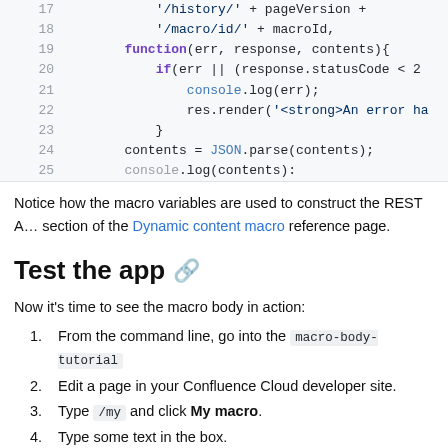[Figure (screenshot): Code snippet showing lines 17-25 of a JavaScript file with syntax highlighting, including function, if statements, console.log, res.render, and JSON.parse calls.]
Notice how the macro variables are used to construct the REST A... section of the Dynamic content macro reference page.
Test the app 🔗
Now it's time to see the macro body in action:
1. From the command line, go into the macro-body-tutorial directory.
2. Edit a page in your Confluence Cloud developer site.
3. Type /my and click My macro.
4. Type some text in the box.
5. Publish the page.